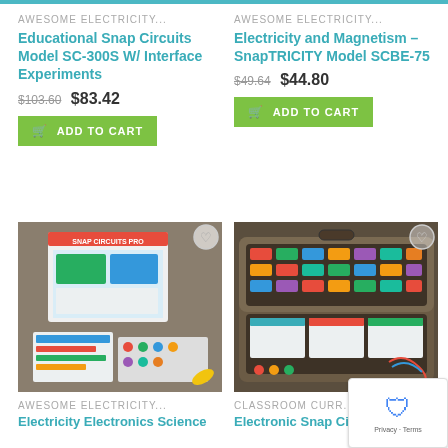AWESOME ELECTRICITY...
Educational Snap Circuits Model SC-300S W/ Interface Experiments
$103.60  $83.42
ADD TO CART
AWESOME ELECTRICITY...
Electricity and Magnetism – SnapTRICITY Model SCBE-75
$49.64  $44.80
ADD TO CART
[Figure (photo): Snap Circuits Pro kit with circuit board, components, and instruction booklets spread out]
[Figure (photo): Electronic snap circuits in a dark carrying case with colorful components organized in rows]
AWESOME ELECTRICITY...
Electricity Electronics Science
CLASSROOM CURR...
Electronic Snap Circuits